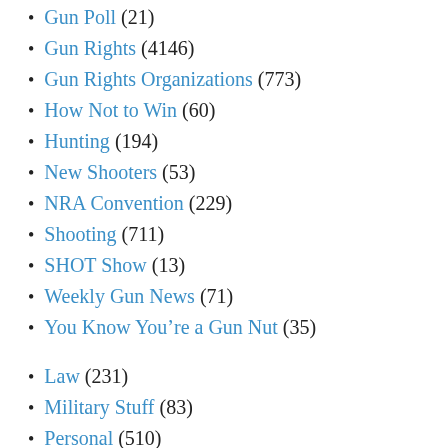Gun Rights (4146)
Gun Rights Organizations (773)
How Not to Win (60)
Hunting (194)
New Shooters (53)
NRA Convention (229)
Shooting (711)
SHOT Show (13)
Weekly Gun News (71)
You Know You’re a Gun Nut (35)
Law (231)
Military Stuff (83)
Personal (510)
Politics (4508)
Sports (10)